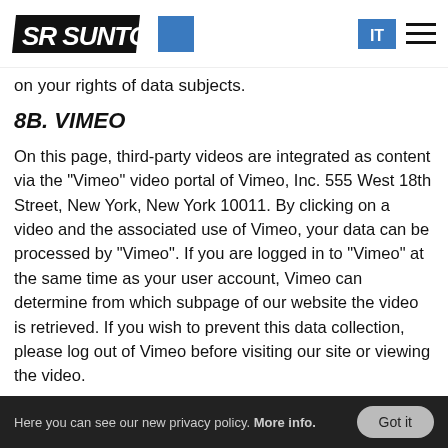SR SUNTOUR [logo] | IT [menu]
on your rights of data subjects.
8B. VIMEO
On this page, third-party videos are integrated as content via the "Vimeo" video portal of Vimeo, Inc. 555 West 18th Street, New York, New York 10011. By clicking on a video and the associated use of Vimeo, your data can be processed by "Vimeo". If you are logged in to "Vimeo" at the same time as your user account, Vimeo can determine from which subpage of our website the video is retrieved. If you wish to prevent this data collection, please log out of Vimeo before visiting our site or viewing the video.
More information and details can be found in the Vimeo Terms of Use/Privacy Policy.
Here you can see our new privacy policy. More info. | Got it